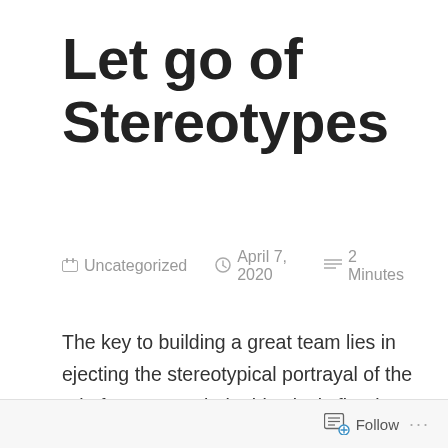Let go of Stereotypes
Uncategorized   April 7, 2020   2 Minutes
The key to building a great team lies in ejecting the stereotypical portrayal of the role from your mind, objectively figuring out the qualities needed for success in the role, and ruthlessly going after that.
Follow ...